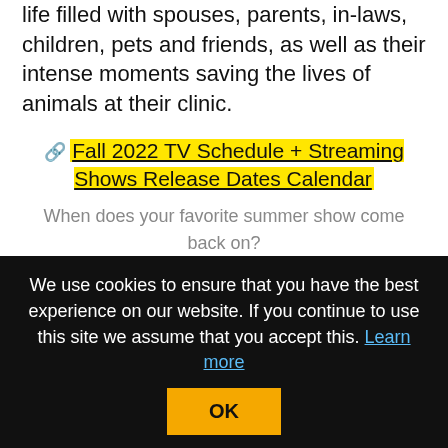life filled with spouses, parents, in-laws, children, pets and friends, as well as their intense moments saving the lives of animals at their clinic.
🔗 Fall 2022 TV Schedule + Streaming Shows Release Dates Calendar
When does your favorite summer show come back on? Check it out on our fall 2022 release dates guide.
We use cookies to ensure that you have the best experience on our website. If you continue to use this site we assume that you accept this. Learn more OK